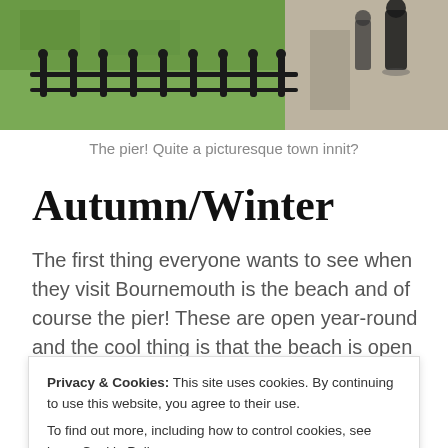[Figure (photo): A photograph of a pier area with iron fence railings, green grass lawn, and a paved sidewalk with people walking.]
The pier! Quite a picturesque town innit?
Autumn/Winter
The first thing everyone wants to see when they visit Bournemouth is the beach and of course the pier! These are open year-round and the cool thing is that the beach is open freely for dogs from October all the way up until April
Privacy & Cookies: This site uses cookies. By continuing to use this website, you agree to their use.
To find out more, including how to control cookies, see here: Cookie Policy
Close and accept
for a while and swim on the floor.